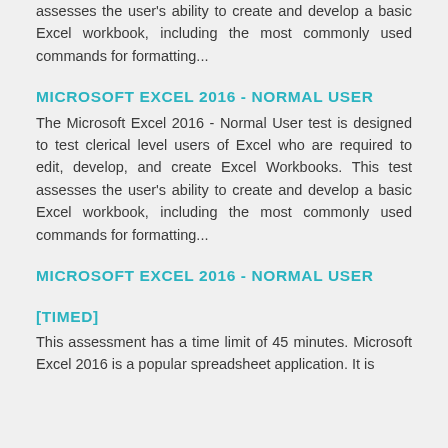assesses the user's ability to create and develop a basic Excel workbook, including the most commonly used commands for formatting...
MICROSOFT EXCEL 2016 - NORMAL USER
The Microsoft Excel 2016 - Normal User test is designed to test clerical level users of Excel who are required to edit, develop, and create Excel Workbooks. This test assesses the user's ability to create and develop a basic Excel workbook, including the most commonly used commands for formatting...
MICROSOFT EXCEL 2016 - NORMAL USER [TIMED]
This assessment has a time limit of 45 minutes. Microsoft Excel 2016 is a popular spreadsheet application. It is